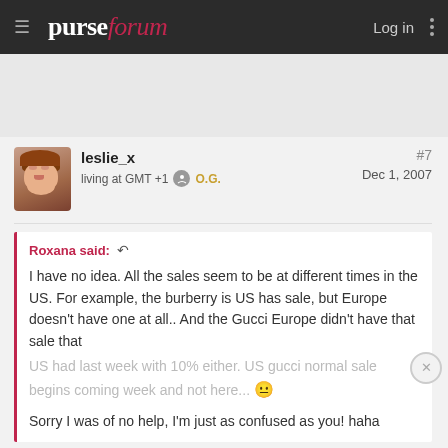purseforum — Log in
[Figure (photo): User avatar for leslie_x showing a woman with reddish-brown hair]
leslie_x
living at GMT +1  O.G.
#7
Dec 1, 2007
Roxana said: ↩

I have no idea. All the sales seem to be at different times in the US. For example, the burberry is US has sale, but Europe doesn't have one at all.. And the Gucci Europe didn't have that sale that US had last week with 10% either. US gucci normal sale begins coming week and not here... 😐

Sorry I was of no help, I'm just as confused as you! haha